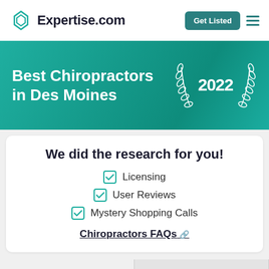Expertise.com | Get Listed
Best Chiropractors in Des Moines 2022
We did the research for you!
Licensing
User Reviews
Mystery Shopping Calls
Chiropractors FAQs
REVIEWS: 5 PROVIDERS
SELECTION CRITERIA